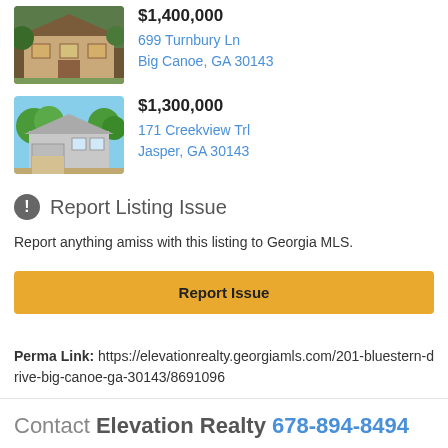[Figure (photo): Photo of house at 699 Turnbury Ln, Big Canoe, GA 30143]
$1,400,000
699 Turnbury Ln
Big Canoe, GA 30143
[Figure (photo): Photo of house at 171 Creekview Trl, Jasper, GA 30143]
$1,300,000
171 Creekview Trl
Jasper, GA 30143
Report Listing Issue
Report anything amiss with this listing to Georgia MLS.
Report Issue
Perma Link: https://elevationrealty.georgiamls.com/201-bluestern-drive-big-canoe-ga-30143/8691096
Contact Elevation Realty 678-894-8494
Your Name (required)